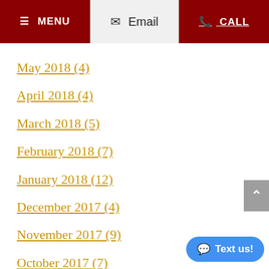MENU | Email | CALL
May 2018 (4)
April 2018 (4)
March 2018 (5)
February 2018 (7)
January 2018 (12)
December 2017 (4)
November 2017 (9)
October 2017 (7)